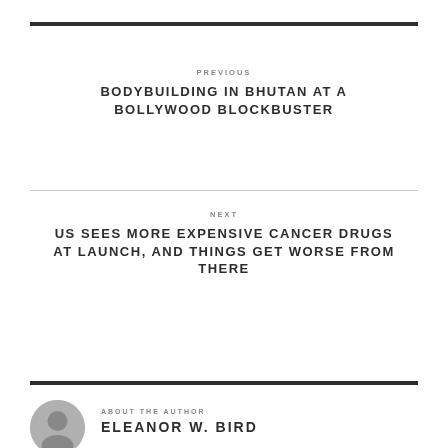PREVIOUS
BODYBUILDING IN BHUTAN AT A BOLLYWOOD BLOCKBUSTER
NEXT
US SEES MORE EXPENSIVE CANCER DRUGS AT LAUNCH, AND THINGS GET WORSE FROM THERE
ABOUT THE AUTHOR
ELEANOR W. BIRD